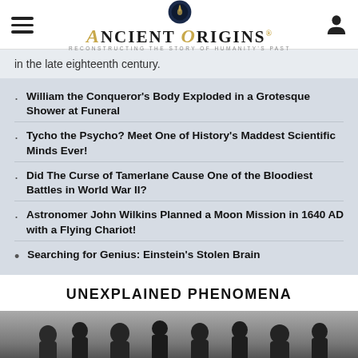Ancient Origins — Reconstructing the Story of Humanity's Past
in the late eighteenth century.
William the Conqueror's Body Exploded in a Grotesque Shower at Funeral
Tycho the Psycho? Meet One of History's Maddest Scientific Minds Ever!
Did The Curse of Tamerlane Cause One of the Bloodiest Battles in World War II?
Astronomer John Wilkins Planned a Moon Mission in 1640 AD with a Flying Chariot!
Searching for Genius: Einstein's Stolen Brain
UNEXPLAINED PHENOMENA
[Figure (photo): Black and white photograph of a group of people, partially visible at the bottom of the page.]